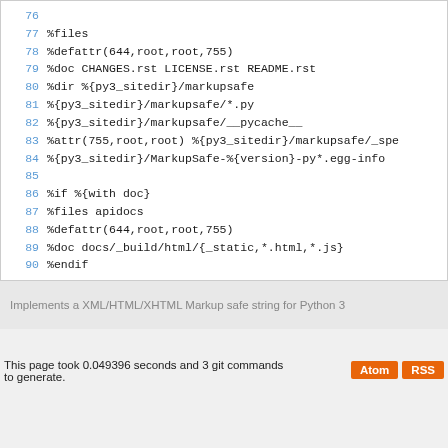[Figure (screenshot): Code block showing lines 76-90 of an RPM spec file with line numbers in blue and monospace code text]
Implements a XML/HTML/XHTML Markup safe string for Python 3
This page took 0.049396 seconds and 3 git commands to generate.